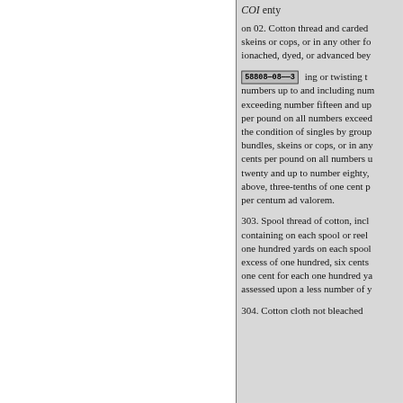COI enty
on 02. Cotton thread and carded skeins or cops, or in any other fo ionached, dyed, or advanced bey
58808—08——3  ing or twisting t numbers up to and including nu exceeding number fifteen and up per pound on all numbers exceed the condition of singles by grou bundles, skeins or cops, or in an cents per pound on all numbers u twenty and up to number eighty, above, three-tenths of one cent p per centum ad valorem.
303. Spool thread of cotton, incl containing on each spool or reel one hundred yards on each spool excess of one hundred, six cents one cent for each one hundred ya assessed upon a less number of y
304. Cotton cloth not bleached